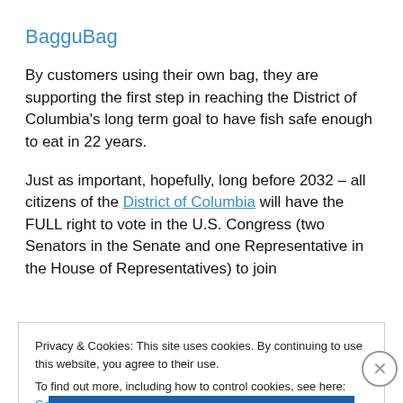BagguBag
By customers using their own bag, they are supporting the first step in reaching the District of Columbia’s long term goal to have fish safe enough to eat in 22 years.
Just as important, hopefully, long before 2032 – all citizens of the District of Columbia will have the FULL right to vote in the U.S. Congress (two Senators in the Senate and one Representative in the House of Representatives) to join
Privacy & Cookies: This site uses cookies. By continuing to use this website, you agree to their use.
To find out more, including how to control cookies, see here: Cookie Policy
Close and accept